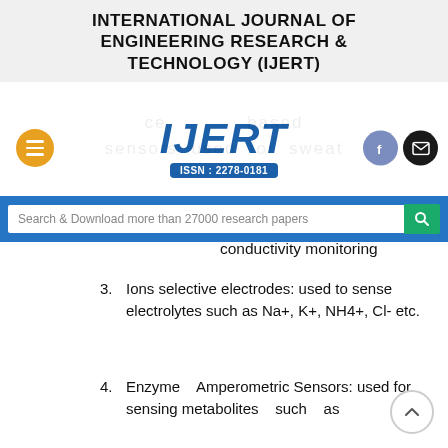INTERNATIONAL JOURNAL OF ENGINEERING RESEARCH & TECHNOLOGY (IJERT)
[Figure (logo): IJERT logo with ISSN: 2278-0181 badge, hamburger menu button (orange circle), and social media icons (Facebook and email in dark circles)]
Search & Download more than 27000 research papers
conductivity monitoring
3. Ions selective electrodes: used to sense electrolytes such as Na+, K+, NH4+, Cl- etc.
4. Enzyme Amperometric Sensors: used for sensing metabolites such as